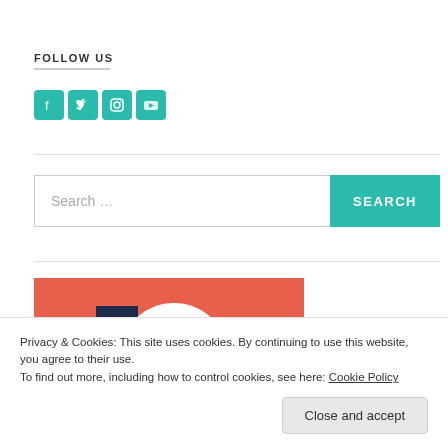FOLLOW US
[Figure (illustration): Four teal social media icons: Facebook, Twitter, Instagram, YouTube]
[Figure (screenshot): Search bar with placeholder text 'Search ...' and a teal SEARCH button]
[Figure (photo): Partial image with coral/red-orange background showing a dark rectangle and white arch shape]
Privacy & Cookies: This site uses cookies. By continuing to use this website, you agree to their use.
To find out more, including how to control cookies, see here: Cookie Policy
Close and accept